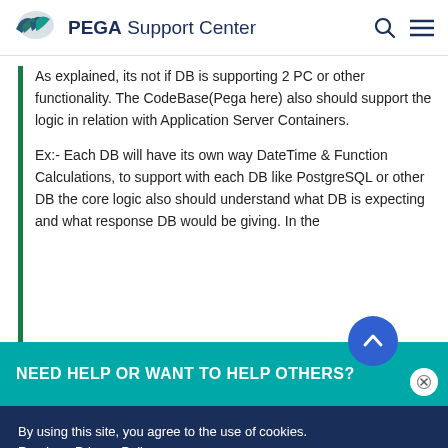PEGA Support Center
As explained, its not if DB is supporting 2 PC or other functionality. The CodeBase(Pega here) also should support the logic in relation with Application Server Containers.
Ex:- Each DB will have its own way DateTime & Function Calculations, to support with each DB like PostgreSQL or other DB the core logic also should understand what DB is expecting and what response DB would be giving. In the
NEED HELP OR WANT TO HELP OTHERS?
By using this site, you agree to the use of cookies.
Read our Privacy Policy
Accept and continue   About cookies